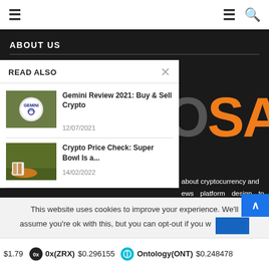Navigation bar with hamburger menu, menu icon, and search icon
ABOUT US
READ ALSO
[Figure (photo): Gemini logo on circular badge against green/olive background]
Gemini Review 2021: Buy & Sell Crypto
12/07/2021
[Figure (photo): Football player feet with orange cleats on grass field]
Crypto Price Check: Super Bowl Is a...
14/02/2022
[Figure (logo): OSAT logo in large text, O in dark grey, SAT in orange]
about cryptocurrency and ews platform design to help deas about crypto currency
This website uses cookies to improve your experience. We'll assume you're ok with this, but you can opt-out if you w
$1.79  0x(ZRX) $0.296155  Ontology(ONT) $0.248478